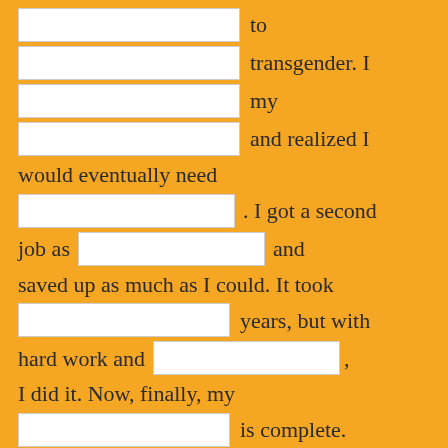[blank] to
[blank] transgender. I
[blank] my
[blank] and realized I would eventually need
[blank] . I got a second job as [blank] and saved up as much as I could. It took
[blank] years, but with hard work and [blank] ,
I did it. Now, finally, my
[blank] is complete.